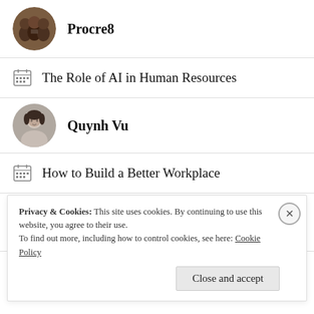[Figure (photo): Circular avatar photo of group of people in formal attire (Procre8 profile)]
Procre8
The Role of AI in Human Resources
[Figure (photo): Circular avatar photo of Quynh Vu, a woman]
Quynh Vu
How to Build a Better Workplace
[Figure (logo): Circular black avatar with stylized 'RG' or monogram icon in teal/blue for Ralph Goodman]
Ralph Goodman
Privacy & Cookies: This site uses cookies. By continuing to use this website, you agree to their use.
To find out more, including how to control cookies, see here: Cookie Policy
Close and accept